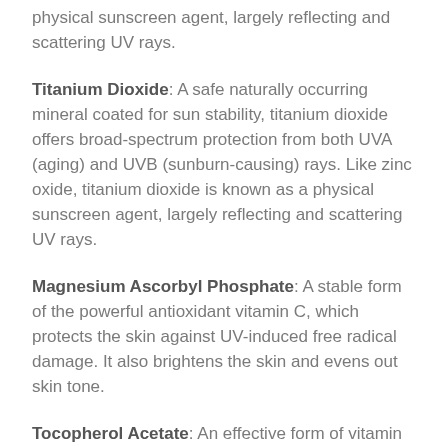physical sunscreen agent, largely reflecting and scattering UV rays.
Titanium Dioxide: A safe naturally occurring mineral coated for sun stability, titanium dioxide offers broad-spectrum protection from both UVA (aging) and UVB (sunburn-causing) rays. Like zinc oxide, titanium dioxide is known as a physical sunscreen agent, largely reflecting and scattering UV rays.
Magnesium Ascorbyl Phosphate: A stable form of the powerful antioxidant vitamin C, which protects the skin against UV-induced free radical damage. It also brightens the skin and evens out skin tone.
Tocopherol Acetate: An effective form of vitamin E for the skin, this highly moisturizing and fat-soluble vitamin protects cell membranes and acts as an antioxidant, which strengthens the effect of vitamin C.
Resveratrol: Derived either from grape seeds or the